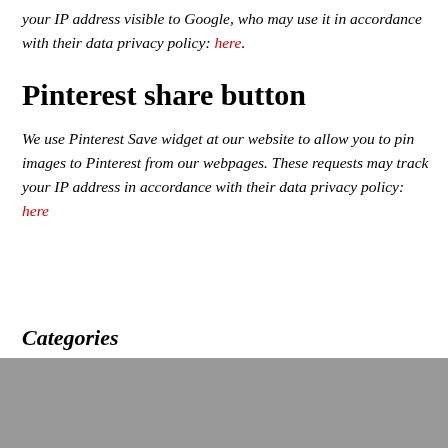your IP address visible to Google, who may use it in accordance with their data privacy policy: here.
Pinterest share button
We use Pinterest Save widget at our website to allow you to pin images to Pinterest from our webpages. These requests may track your IP address in accordance with their data privacy policy: here
Categories